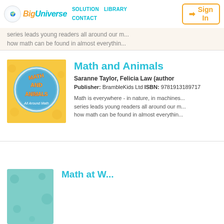Big Universe | SOLUTION | LIBRARY | CONTACT | Sign In
series leads young readers all around our m... how math can be found in almost everythin...
[Figure (illustration): Book cover for Math and Animals - All Around Math, yellow background with blue circle logo featuring cartoon-style text]
Math and Animals
Saranne Taylor, Felicia Law (author)
Publisher: BrambleKids Ltd ISBN: 9781913189717
Math is everywhere - in nature, in machines, series leads young readers all around our m... how math can be found in almost everythin...
[Figure (illustration): Partial book cover at bottom, teal/cyan background with polka dots pattern]